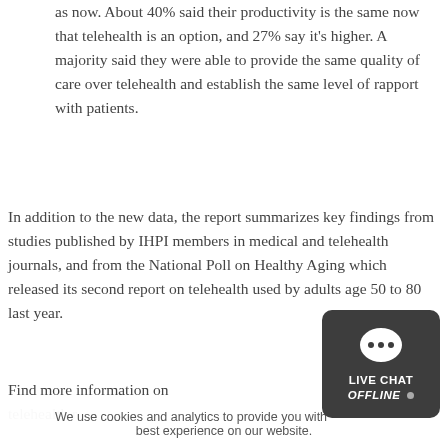as now. About 40% said their productivity is the same now that telehealth is an option, and 27% say it's higher. A majority said they were able to provide the same quality of care over telehealth and establish the same level of rapport with patients.
In addition to the new data, the report summarizes key findings from studies published by IHPI members in medical and telehealth journals, and from the National Poll on Healthy Aging which released its second report on telehealth used by adults age 50 to 80 last year.
Find more information on telehealth r...
We use cookies and analytics to provide you with... best experience on our website.